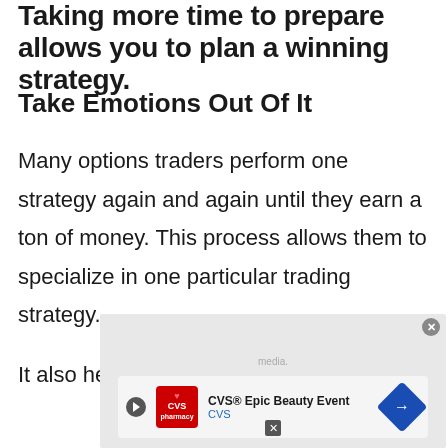Taking more time to prepare allows you to plan a winning strategy.
Take Emotions Out Of It
Many options traders perform one strategy again and again until they earn a ton of money. This process allows them to specialize in one particular trading strategy.
It also helps you remove your emotions
[Figure (other): CVS Epic Beauty Event advertisement banner overlay with CVS pharmacy logo, navigation arrow icon, play button, and close buttons. Text reads 'CVS® Epic Beauty Event' and 'CVS'. Gray overlay background with ad content.]